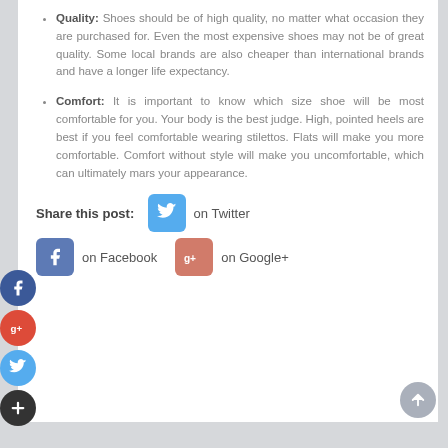Quality: Shoes should be of high quality, no matter what occasion they are purchased for. Even the most expensive shoes may not be of great quality. Some local brands are also cheaper than international brands and have a longer life expectancy.
Comfort: It is important to know which size shoe will be most comfortable for you. Your body is the best judge. High, pointed heels are best if you feel comfortable wearing stilettos. Flats will make you more comfortable. Comfort without style will make you uncomfortable, which can ultimately mars your appearance.
Share this post:  on Twitter  on Facebook  on Google+